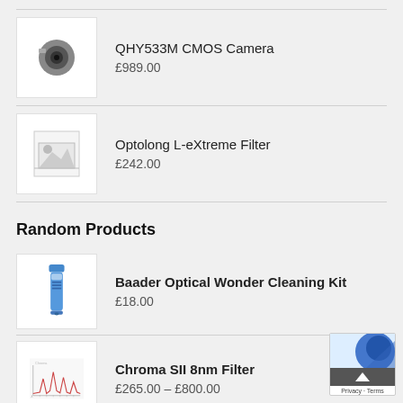[Figure (photo): QHY533M CMOS Camera product image - small camera device]
QHY533M CMOS Camera
£989.00
[Figure (photo): Optolong L-eXtreme Filter - placeholder image icon]
Optolong L-eXtreme Filter
£242.00
Random Products
[Figure (photo): Baader Optical Wonder Cleaning Kit - blue spray bottle]
Baader Optical Wonder Cleaning Kit
£18.00
[Figure (photo): Chroma SII 8nm Filter - spectrum chart image]
Chroma SII 8nm Filter
£265.00 – £800.00
[Figure (photo): Meteor Lens for QHY5-II Series Cameras - lens product image]
Meteor Lens for QHY5-II Series Cameras